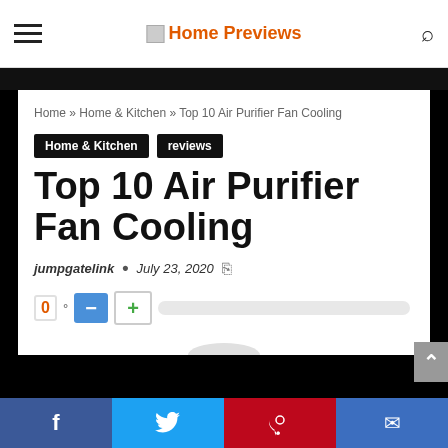Home Previews
Home » Home & Kitchen » Top 10 Air Purifier Fan Cooling
Home & Kitchen
reviews
Top 10 Air Purifier Fan Cooling
jumpgatelink • July 23, 2020
0°
Facebook Twitter Pinterest Email